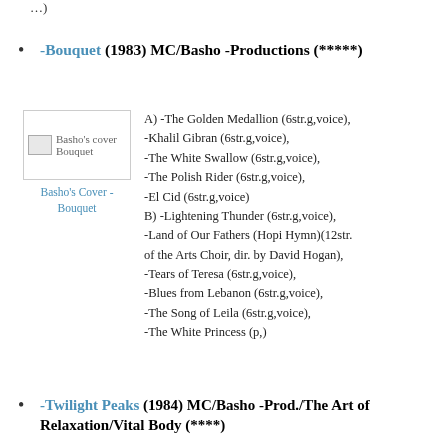…)
-Bouquet (1983) MC/Basho -Productions (*****)
[Figure (photo): Basho's cover Bouquet album cover image placeholder]
Basho's Cover - Bouquet
A) -The Golden Medallion (6str.g,voice), -Khalil Gibran (6str.g,voice), -The White Swallow (6str.g,voice), -The Polish Rider (6str.g,voice), -El Cid (6str.g,voice) B) -Lightening Thunder (6str.g,voice), -Land of Our Fathers (Hopi Hymn)(12str. of the Arts Choir, dir. by David Hogan), -Tears of Teresa (6str.g,voice), -Blues from Lebanon (6str.g,voice), -The Song of Leila (6str.g,voice), -The White Princess (p,)
-Twilight Peaks (1984) MC/Basho -Prod./The Art of Relaxation/Vital Body (****)